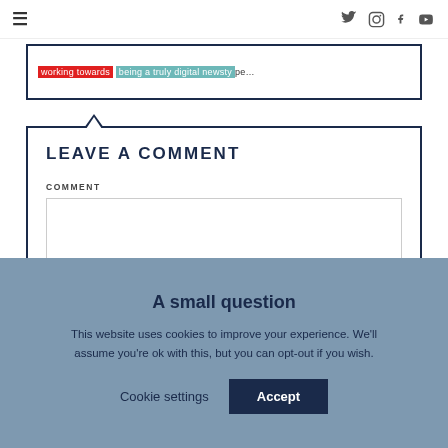≡  [social icons: twitter, instagram, facebook, youtube]
…working towards being a truly digital newstype…
LEAVE A COMMENT
COMMENT
A small question
This website uses cookies to improve your experience. We'll assume you're ok with this, but you can opt-out if you wish.
Cookie settings   Accept